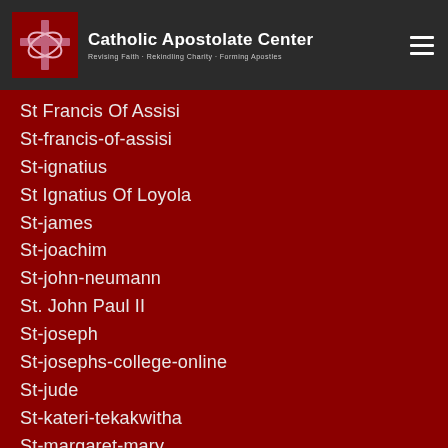Catholic Apostolate Center — Revising Faith · Rekindling Charity · Forming Apostles
St Francis Of Assisi
St-francis-of-assisi
St-ignatius
St Ignatius Of Loyola
St-james
St-joachim
St-john-neumann
St. John Paul II
St-joseph
St-josephs-college-online
St-jude
St-kateri-tekakwitha
St-margaret-mary
St-maximilian-kolbe
St-michael-the-archangel
St Monica
St-nicholas